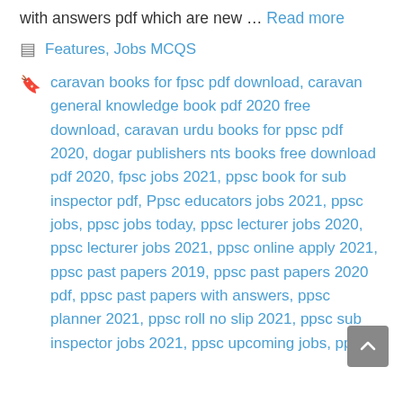with answers pdf which are new … Read more
Categories: Features, Jobs MCQS
Tags: caravan books for fpsc pdf download, caravan general knowledge book pdf 2020 free download, caravan urdu books for ppsc pdf 2020, dogar publishers nts books free download pdf 2020, fpsc jobs 2021, ppsc book for sub inspector pdf, Ppsc educators jobs 2021, ppsc jobs, ppsc jobs today, ppsc lecturer jobs 2020, ppsc lecturer jobs 2021, ppsc online apply 2021, ppsc past papers 2019, ppsc past papers 2020 pdf, ppsc past papers with answers, ppsc planner 2021, ppsc roll no slip 2021, ppsc sub inspector jobs 2021, ppsc upcoming jobs, ppsc